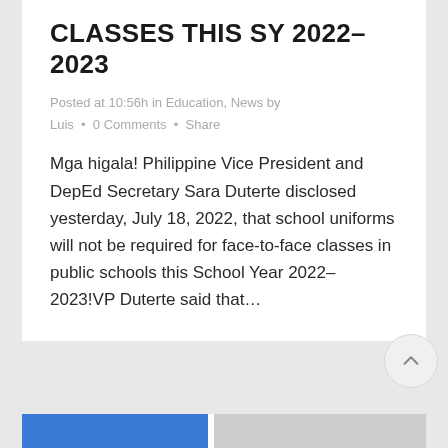CLASSES THIS SY 2022-2023
Posted at 10:56h in Education, News by Luis  •  0 Comments  •  Share
Mga higala! Philippine Vice President and DepEd Secretary Sara Duterte disclosed yesterday, July 18, 2022, that school uniforms will not be required for face-to-face classes in public schools this School Year 2022-2023!VP Duterte said that...